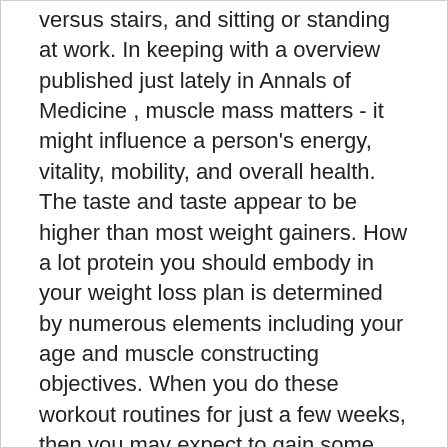versus stairs, and sitting or standing at work. In keeping with a overview published just lately in Annals of Medicine , muscle mass matters - it might influence a person's energy, vitality, mobility, and overall health. The taste and taste appear to be higher than most weight gainers. How a lot protein you should embody in your weight loss plan is determined by numerous elements including your age and muscle constructing objectives. When you do these workout routines for just a few weeks, then you may expect to gain some size and might I make my penis longer?As a result of science has proven that it's attainable and there are lots of of 1000's of success is one of the best ways to enlarge your every time you do these stretching exercises, your body has to repair the broken tissue and change the previous cells with new and larger for those who preserve doing these workout routines for several months, then you possibly can lengthen your penis by a number of these particular workout routines do, is stretch the tissue of the Corpora can I make my penis longer?This is the world of the penis, the place most of the